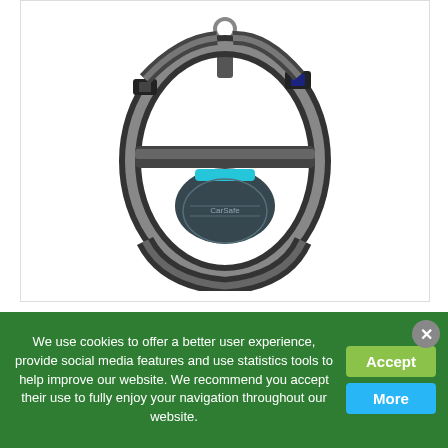[Figure (photo): A dog harness product photo — CarSafe Dog Travel Harness in black with teal/blue accent, shown against white background. The harness has adjustable straps, buckles, and a central padded chest panel with the brand logo.]
CarSafe Dog Travel Harness, X-Small
£ 13.45
We use cookies to offer a better user experience, provide social media features and use statistics tools to help improve our website. We recommend you accept their use to fully enjoy your navigation throughout our website.